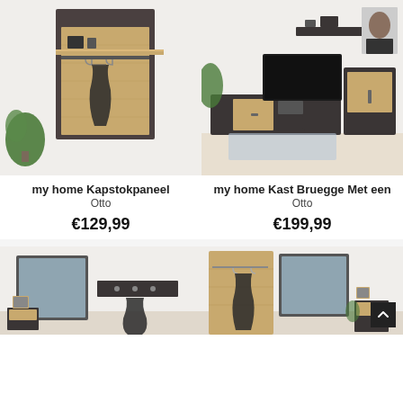[Figure (photo): Wall-mounted coat rack panel in oak and dark grey, with shelf and hooks, jacket hanging, green plant, white brick wall background]
[Figure (photo): Living room wall unit set in oak and dark grey: TV cabinet, tall display cabinet with door, wall shelf, on light floor with brick wall background]
my home Kapstokpaneel
Otto
€129,99
my home Kast Bruegge Met een
Otto
€199,99
[Figure (photo): Hallway furniture set: square mirror, coat hooks panel with jacket hanging, small cabinet, white brick wall background]
[Figure (photo): Hallway furniture set with wardrobe panel, mirror, hooks, jacket hanging, small cabinet, white brick wall background, scroll-up button bottom right]